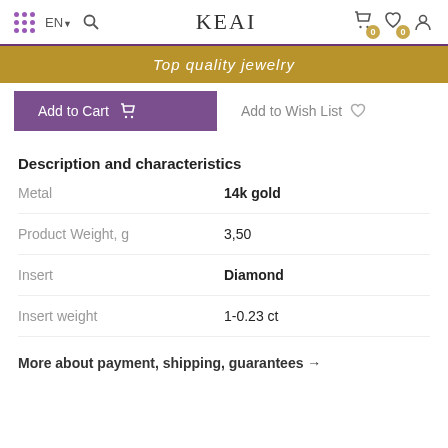KEAI — navigation bar with EN language selector, search, cart (0), wishlist (0), and account icons
Top quality jewelry
Add to Cart  Add to Wish List
Description and characteristics
|  |  |
| --- | --- |
| Metal | 14k gold |
| Product Weight, g | 3,50 |
| Insert | Diamond |
| Insert weight | 1-0.23 ct |
More about payment, shipping, guarantees →